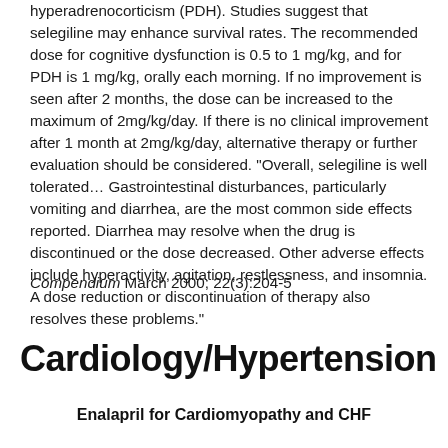hyperadrenocorticism (PDH). Studies suggest that selegiline may enhance survival rates. The recommended dose for cognitive dysfunction is 0.5 to 1 mg/kg, and for PDH is 1 mg/kg, orally each morning. If no improvement is seen after 2 months, the dose can be increased to the maximum of 2mg/kg/day. If there is no clinical improvement after 1 month at 2mg/kg/day, alternative therapy or further evaluation should be considered. "Overall, selegiline is well tolerated... Gastrointestinal disturbances, particularly vomiting and diarrhea, are the most common side effects reported. Diarrhea may resolve when the drug is discontinued or the dose decreased. Other adverse effects include hyperactivity, agitation, restlessness, and insomnia. A dose reduction or discontinuation of therapy also resolves these problems."
Compendium March 2000; 22(3):204-5
Cardiology/Hypertension
Enalapril for Cardiomyopathy and CHF